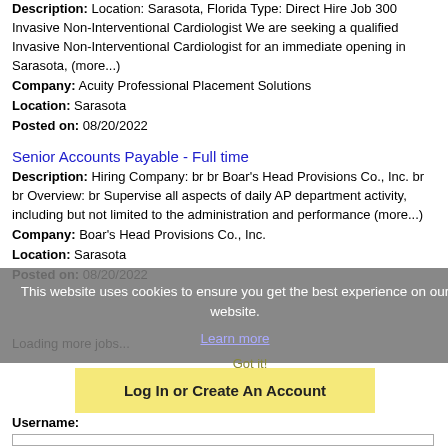Description: Location: Sarasota, Florida Type: Direct Hire Job 300 Invasive Non-Interventional Cardiologist We are seeking a qualified Invasive Non-Interventional Cardiologist for an immediate opening in Sarasota, (more...)
Company: Acuity Professional Placement Solutions
Location: Sarasota
Posted on: 08/20/2022
Senior Accounts Payable - Full time
Description: Hiring Company: br br Boar's Head Provisions Co., Inc. br br Overview: br Supervise all aspects of daily AP department activity, including but not limited to the administration and performance (more...)
Company: Boar's Head Provisions Co., Inc.
Location: Sarasota
Posted on: 08/20/2022
This website uses cookies to ensure you get the best experience on our website.
Learn more
Loading more jobs...
Got it!
Log In or Create An Account
Username: